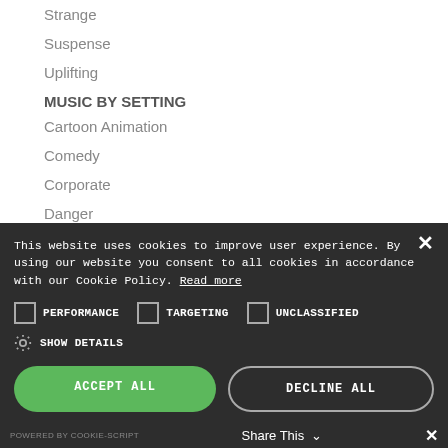Strange
Suspense
Uplifting
MUSIC BY SETTING
Cartoon Animation
Comedy
Corporate
Danger
This website uses cookies to improve user experience. By using our website you consent to all cookies in accordance with our Cookie Policy. Read more
PERFORMANCE   TARGETING   UNCLASSIFIED
SHOW DETAILS
ACCEPT ALL   DECLINE ALL
POWERED BY COOKIE-SCRIPT   Share This   ✕